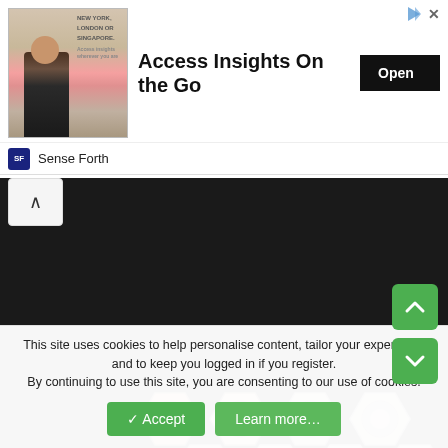[Figure (screenshot): Advertisement banner: image of man with text 'NEW YORK, LONDON OR SINGAPORE.' with 'Access Insights On the Go' headline and 'Open' button. Brand: Sense Forth.]
[Figure (photo): Close-up photo of hexagonal shaped nuts/bolts arranged in a honeycomb pattern, some metallic/silver, some beige/tan colored, on a dark background.]
This site uses cookies to help personalise content, tailor your experience and to keep you logged in if you register.
By continuing to use this site, you are consenting to our use of cookies.